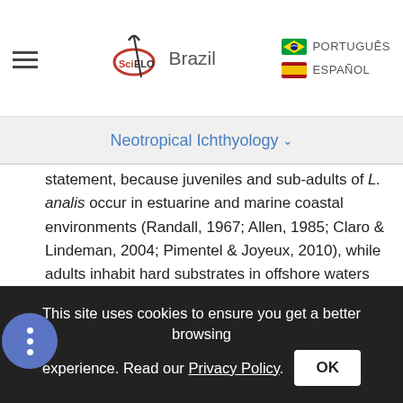SciELO Brazil | PORTUGUÊS | ESPAÑOL
Neotropical Ichthyology
statement, because juveniles and sub-adults of L. analis occur in estuarine and marine coastal environments (Randall, 1967; Allen, 1985; Claro & Lindeman, 2004; Pimentel & Joyeux, 2010), while adults inhabit hard substrates in offshore waters and reef environments (Cocheret de la Morinière et al., 2003; Frédou & Ferreira, 2005).
According to our data, this mesopredator plays an important role on the trophic ecology of the Abrolhos Bank coral reefs, because it is an important reef predator with a wide range of food
This site uses cookies to ensure you get a better browsing experience. Read our Privacy Policy. OK